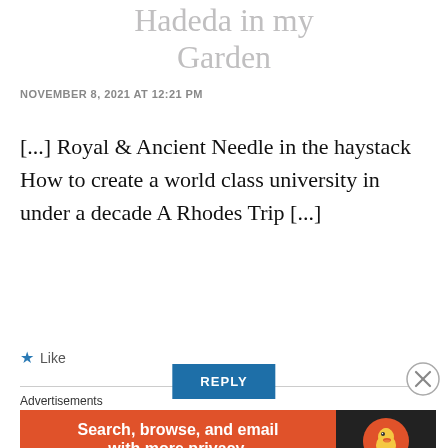Hadeda in my Garden
NOVEMBER 8, 2021 AT 12:21 PM
[...] Royal & Ancient Needle in the haystack How to create a world class university in under a decade A Rhodes Trip [...]
★ Like
REPLY
Advertisements
[Figure (other): DuckDuckGo advertisement banner: 'Search, browse, and email with more privacy. All in One Free App' with DuckDuckGo logo on dark background]